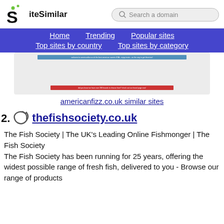[Figure (logo): SiteSimilar logo with stylized S and green dots, with search bar]
Home  Trending  Popular sites  Top sites by country  Top sites by category
[Figure (screenshot): Screenshot of americanfizz.co.uk website with blue header and red bottom bar]
americanfizz.co.uk similar sites
2. thefishsociety.co.uk
The Fish Society | The UK's Leading Online Fishmonger | The Fish Society
The Fish Society has been running for 25 years, offering the widest possible range of fresh fish, delivered to you - Browse our range of products